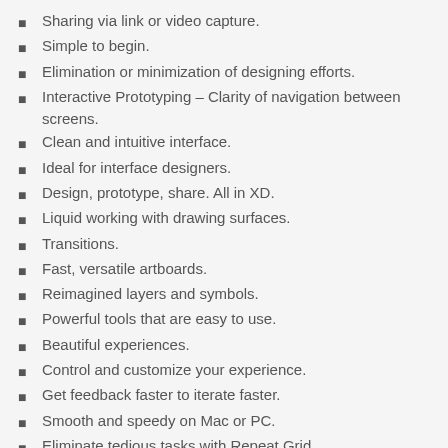Sharing via link or video capture.
Simple to begin.
Elimination or minimization of designing efforts.
Interactive Prototyping – Clarity of navigation between screens.
Clean and intuitive interface.
Ideal for interface designers.
Design, prototype, share. All in XD.
Liquid working with drawing surfaces.
Transitions.
Fast, versatile artboards.
Reimagined layers and symbols.
Powerful tools that are easy to use.
Beautiful experiences.
Control and customize your experience.
Get feedback faster to iterate faster.
Smooth and speedy on Mac or PC.
Eliminate tedious tasks with Repeat Grid.
Preview on mobile devices.
Supports multiple target platforms.